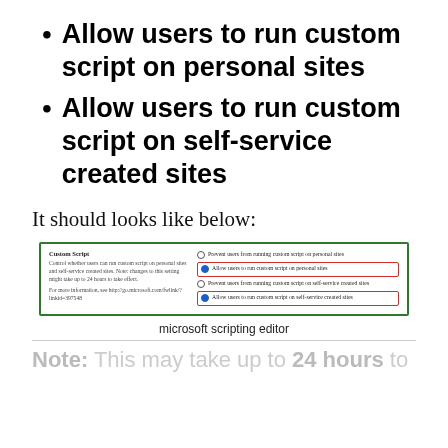Allow users to run custom script on personal sites
Allow users to run custom script on self-service created sites
It should looks like below:
[Figure (screenshot): Screenshot of Microsoft Custom Script settings panel showing two radio button groups: 'Prevent users from running custom script on personal sites' and 'Allow users to run custom script on personal sites' (selected, highlighted in red box), and 'Prevent users from running custom script on self-service created sites' and 'Allow users to run custom script on self-service created sites' (selected, highlighted in red box). The panel is outlined in green.]
microsoft scripting editor
Note: This may take up to 24 hours to